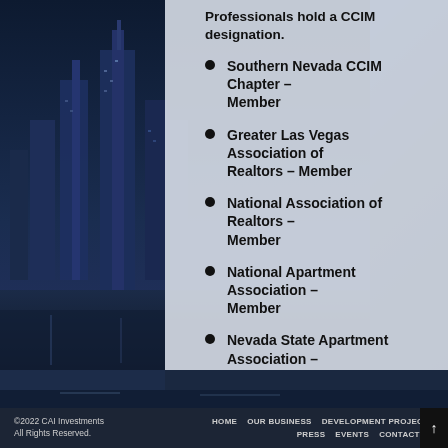[Figure (photo): Dark blue cityscape with tall buildings illuminated at night, visible on the left side of the page]
Professionals hold a CCIM designation.
Southern Nevada CCIM Chapter – Member
Greater Las Vegas Association of Realtors – Member
National Association of Realtors – Member
National Apartment Association – Member
Nevada State Apartment Association – Member
©2022 CAI Investments All Rights Reserved.   HOME   OUR BUSINESS   DEVELOPMENT PROJECTS   PRESS   EVENTS   CONTACT US